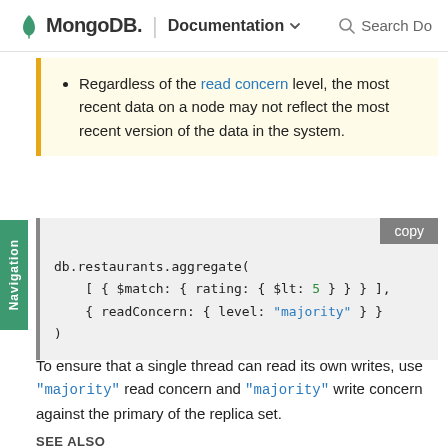MongoDB. | Documentation  Search Do
Regardless of the read concern level, the most recent data on a node may not reflect the most recent version of the data in the system.
db.restaurants.aggregate(
    [ { $match: { rating: { $lt: 5 } } } ],
    { readConcern: { level: "majority" } }
)
To ensure that a single thread can read its own writes, use "majority" read concern and "majority" write concern against the primary of the replica set.
SEE ALSO